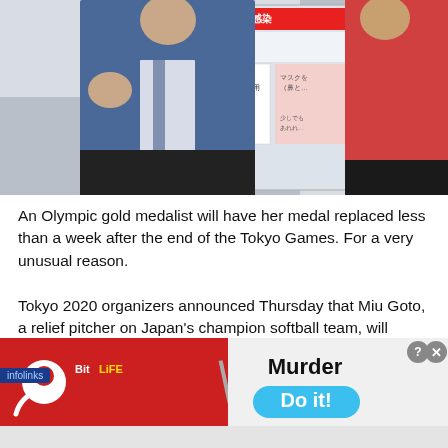[Figure (photo): Two people standing in front of a Japanese signage backdrop reading 'STOP! 職場感染' (Stop Workplace Infection). One person on the left wears a blue suit, the other on the right wears a red/orange athletic jacket.]
An Olympic gold medalist will have her medal replaced less than a week after the end of the Tokyo Games. For a very unusual reason.
Tokyo 2020 organizers announced Thursday that Miu Goto, a relief pitcher on Japan's champion softball team, will receive a new gold medal after Takashi Kawamura, the mayor of her hometown in Nagoya, bit down on her medal during a ceremony.
[Figure (screenshot): Advertisement banner for BitLife mobile game showing red background with BitLife logo on left and 'Murder / Do it!' text on right with blue rounded button and close/question buttons.]